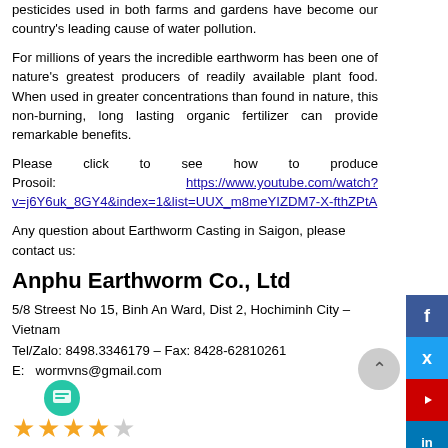pesticides used in both farms and gardens have become our country's leading cause of water pollution.
For millions of years the incredible earthworm has been one of nature's greatest producers of readily available plant food. When used in greater concentrations than found in nature, this non-burning, long lasting organic fertilizer can provide remarkable benefits.
Please click to see how to produce Prosoil: https://www.youtube.com/watch?v=j6Y6uk_8GY4&index=1&list=UUX_m8meYIZDM7-X-fthZPtA
Any question about Earthworm Casting in Saigon, please contact us:
Anphu Earthworm Co., Ltd
5/8 Streest No 15, Binh An Ward, Dist 2, Hochiminh City – Vietnam
Tel/Zalo: 8498.3346179 – Fax: 8428-62810261
E: wormvns@gmail.com